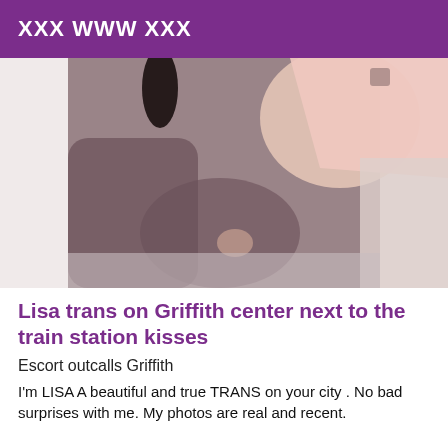XXX WWW XXX
[Figure (photo): Close-up photo of person wearing fishnet stockings, crouching, with a light pink skirt visible]
Lisa trans on Griffith center next to the train station kisses
Escort outcalls Griffith
I'm LISA A beautiful and true TRANS on your city . No bad surprises with me. My photos are real and recent.